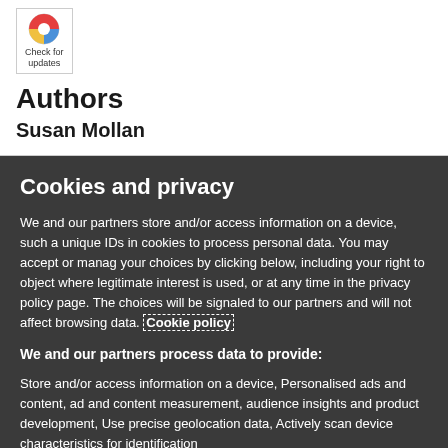[Figure (logo): Circular icon with red and blue segments labeled 'Check for updates']
Authors
Susan Mollan
Cookies and privacy
We and our partners store and/or access information on a device, such as unique IDs in cookies to process personal data. You may accept or manage your choices by clicking below, including your right to object where legitimate interest is used, or at any time in the privacy policy page. These choices will be signaled to our partners and will not affect browsing data. Cookie policy
We and our partners process data to provide:
Store and/or access information on a device, Personalised ads and content, ad and content measurement, audience insights and product development, Use precise geolocation data, Actively scan device characteristics for identification
List of Partners (vendors)